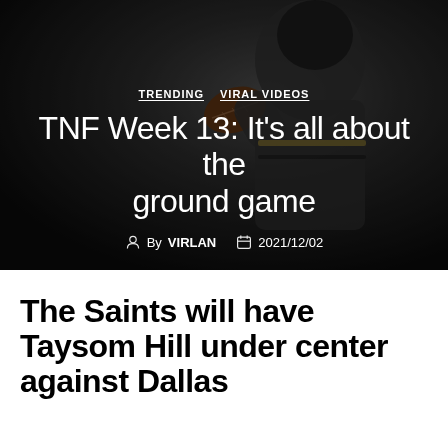[Figure (photo): NFL quarterback in white and gold Saints uniform holding a football, dark blurred stadium background, hero image with overlay text]
TRENDING  VIRAL VIDEOS
TNF Week 13: It’s all about the ground game
By VIRLAN  2021/12/02
The Saints will have Taysom Hill under center against Dallas